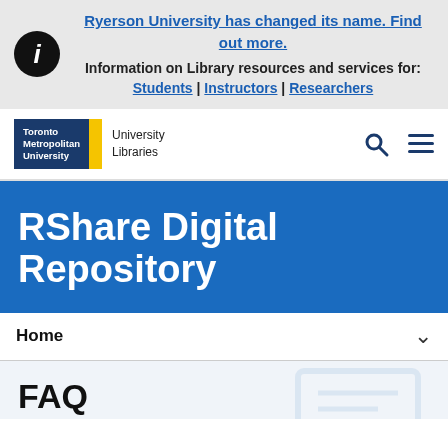Ryerson University has changed its name. Find out more. Information on Library resources and services for: Students | Instructors | Researchers
[Figure (logo): Toronto Metropolitan University Libraries logo with blue box and yellow accent, plus search and menu icons]
RShare Digital Repository
Home
FAQ